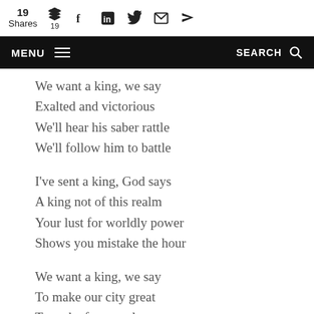19 Shares | social icons | MENU | SEARCH
We want a king, we say
Exalted and victorious
We'll hear his saber rattle
We'll follow him to battle
I've sent a king, God says
A king not of this realm
Your lust for worldly power
Shows you mistake the hour
We want a king, we say
To make our city great
To make for ourselves a name
To not be scattered from this plain